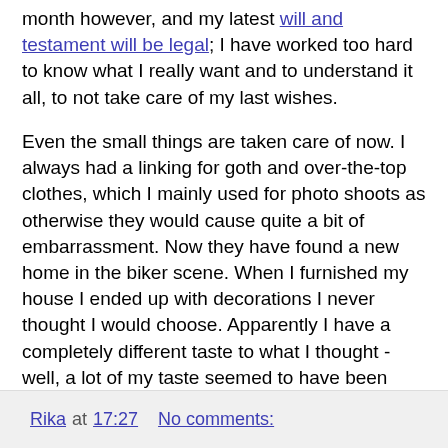month however, and my latest will and testament will be legal; I have worked too hard to know what I really want and to understand it all, to not take care of my last wishes.
Even the small things are taken care of now. I always had a linking for goth and over-the-top clothes, which I mainly used for photo shoots as otherwise they would cause quite a bit of embarrassment. Now they have found a new home in the biker scene. When I furnished my house I ended up with decorations I never thought I would choose. Apparently I have a completely different taste to what I thought - well, a lot of my taste seemed to have been inspired by fashion and social convention. Being able to show off status was important, to fit in, to belong...
With my worst nightmares being lived through already and the wish for 'belonging' out of the way, this woman can go as bonkers as much as she likes; no need for a bucket list anymore. The world is my oyster!
Rika at 17:27    No comments: